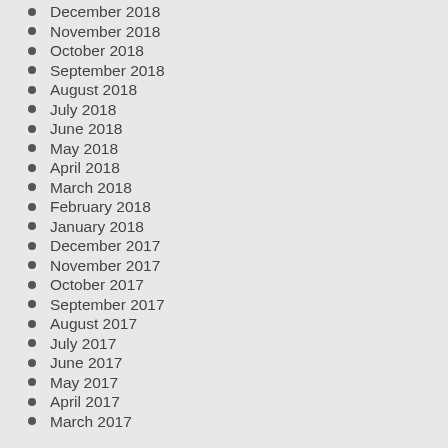December 2018
November 2018
October 2018
September 2018
August 2018
July 2018
June 2018
May 2018
April 2018
March 2018
February 2018
January 2018
December 2017
November 2017
October 2017
September 2017
August 2017
July 2017
June 2017
May 2017
April 2017
March 2017